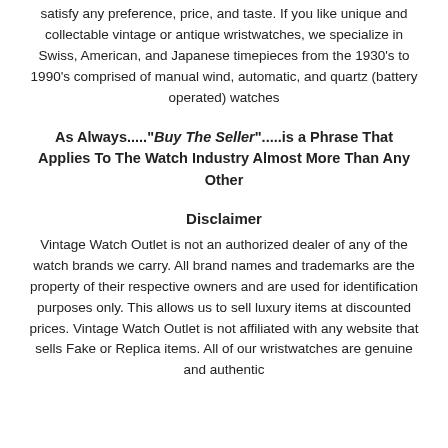satisfy any preference, price, and taste. If you like unique and collectable vintage or antique wristwatches, we specialize in Swiss, American, and Japanese timepieces from the 1930's to 1990's comprised of manual wind, automatic, and quartz (battery operated) watches
As Always.....“Buy The Seller”.....is a Phrase That Applies To The Watch Industry Almost More Than Any Other
Disclaimer
Vintage Watch Outlet is not an authorized dealer of any of the watch brands we carry. All brand names and trademarks are the property of their respective owners and are used for identification purposes only. This allows us to sell luxury items at discounted prices. Vintage Watch Outlet is not affiliated with any website that sells Fake or Replica items. All of our wristwatches are genuine and authentic